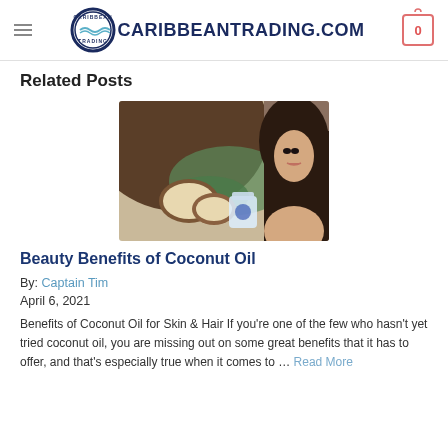CARIBBEANTRADING.COM
Related Posts
[Figure (photo): Woman with long dark hair next to coconuts and a jar of coconut oil with green leaves]
Beauty Benefits of Coconut Oil
By: Captain Tim
April 6, 2021
Benefits of Coconut Oil for Skin & Hair If you're one of the few who hasn't yet tried coconut oil, you are missing out on some great benefits that it has to offer, and that's especially true when it comes to … Read More